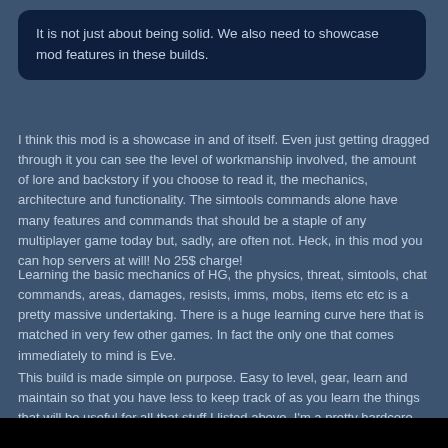It is not just about being solid. We also need to showcase mod features in these builds.
I think this mod is a showcase in and of itself. Even just getting dragged through it you can see the level of workmanship involved, the amount of lore and backstory if you choose to read it, the mechanics, architecture and functionality. The simtools commands alone have many features and commands that should be a staple of any multiplayer game today but, sadly, are often not. Heck, in this mod you can hop servers at will! No 25$ charge!
Learning the basic mechanics of HG, the physics, threat, simtools, chat commands, areas, damages, resists, imms, mobs, items etc etc is a pretty massive undertaking. There is a huge learning curve here that is matched in very few other games. In fact the only one that comes immediately to mind is Eve.
This build is made simple on purpose. Easy to level, gear, learn and maintain so that you have less to keep track of as you learn the things that will be useful for all that stuff I listed above. I'm a pretty hardcore gamer and I'm not ashamed at all to admit that it took me months of constant play to get even semi comfortable with the mod and what it had to offer. For a